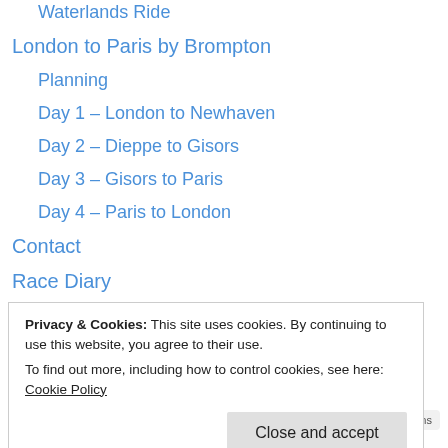Waterlands Ride
London to Paris by Brompton
Planning
Day 1 – London to Newhaven
Day 2 – Dieppe to Gisors
Day 3 – Gisors to Paris
Day 4 – Paris to London
Contact
Race Diary
Privacy & Cookies: This site uses cookies. By continuing to use this website, you agree to their use.
To find out more, including how to control cookies, see here: Cookie Policy
Close and accept
Privacy · Terms